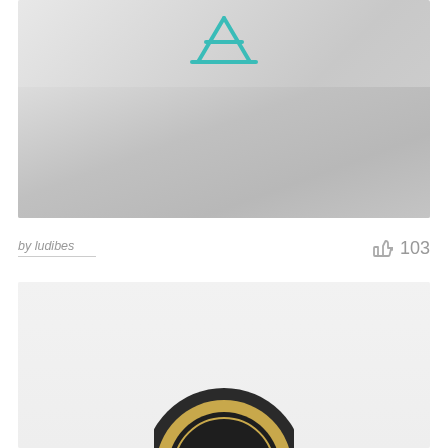[Figure (screenshot): Top card showing a faded laptop/keyboard background with a teal stylized letter A logo icon overlaid at the top center]
by ludibes
103
[Figure (logo): Bottom card with light gray background showing partial view of a circular dark and gold logo/emblem at the bottom center]